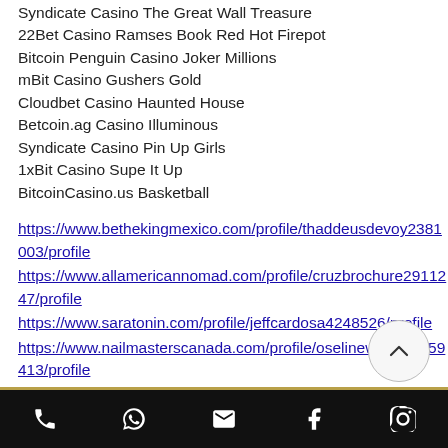Syndicate Casino The Great Wall Treasure
22Bet Casino Ramses Book Red Hot Firepot
Bitcoin Penguin Casino Joker Millions
mBit Casino Gushers Gold
Cloudbet Casino Haunted House
Betcoin.ag Casino Illuminous
Syndicate Casino Pin Up Girls
1xBit Casino Supe It Up
BitcoinCasino.us Basketball
https://www.bethekingmexico.com/profile/thaddeusdevoy2381003/profile
https://www.allamericannomad.com/profile/cruzbrochure2911247/profile
https://www.saratonin.com/profile/jeffcardosa4248526/profile
https://www.nailmasterscanada.com/profile/oselinewojner8159413/profile
phone | whatsapp | email | facebook | instagram